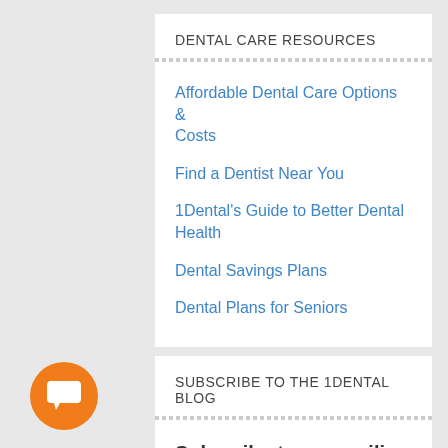DENTAL CARE RESOURCES
Affordable Dental Care Options & Costs
Find a Dentist Near You
1Dental's Guide to Better Dental Health
Dental Savings Plans
Dental Plans for Seniors
SUBSCRIBE TO THE 1DENTAL BLOG
Subscribe to our mailing